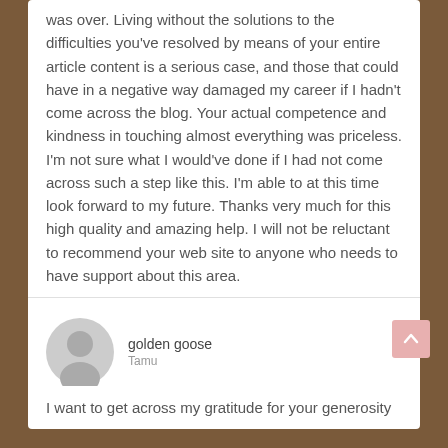was over. Living without the solutions to the difficulties you've resolved by means of your entire article content is a serious case, and those that could have in a negative way damaged my career if I hadn't come across the blog. Your actual competence and kindness in touching almost everything was priceless. I'm not sure what I would've done if I had not come across such a step like this. I'm able to at this time look forward to my future. Thanks very much for this high quality and amazing help. I will not be reluctant to recommend your web site to anyone who needs to have support about this area.
Februari 4, 2021 pada 10:25 am BALAS   #56636
golden goose
Tamu
I want to get across my gratitude for your generosity